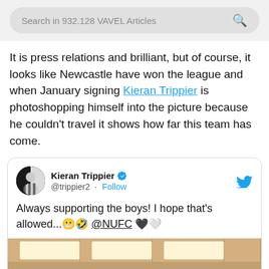Search in 932.128 VAVEL Articles
It is press relations and brilliant, but of course, it looks like Newcastle have won the league and when January signing Kieran Trippier is photoshopping himself into the picture because he couldn't travel it shows how far this team has come.
[Figure (screenshot): Embedded tweet from Kieran Trippier (@trippier2) with verified badge, Follow button, Twitter bird logo. Tweet text: 'Always supporting the boys! I hope that's allowed...😬🤣 @NUFC 🖤🤍'. Bottom shows cropped image preview.]